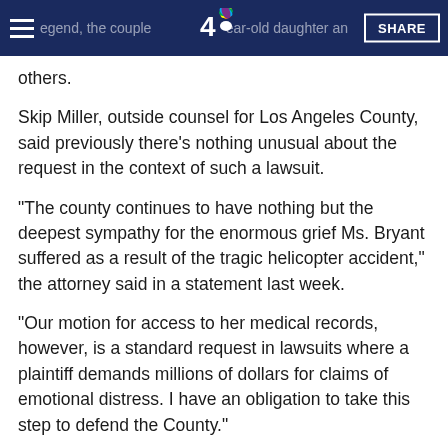[navigation bar with NBC4 logo and SHARE button]
others.
Skip Miller, outside counsel for Los Angeles County, said previously there's nothing unusual about the request in the context of such a lawsuit.
“The county continues to have nothing but the deepest sympathy for the enormous grief Ms. Bryant suffered as a result of the tragic helicopter accident,” the attorney said in a statement last week.
“Our motion for access to her medical records, however, is a standard request in lawsuits where a plaintiff demands millions of dollars for claims of emotional distress. I have an obligation to take this step to defend the County.”